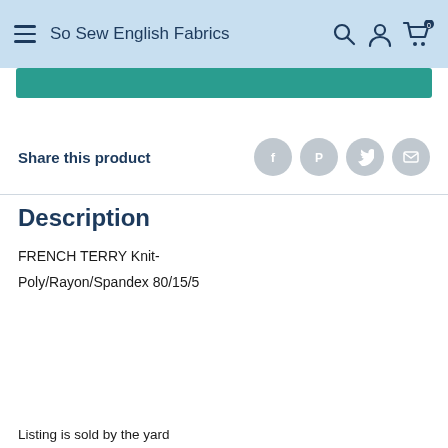So Sew English Fabrics
Description
Share this product
FRENCH TERRY Knit-
Poly/Rayon/Spandex 80/15/5
This website uses cookies to ensure you get the best experience on our website. Learn More
Accept
Listing is sold by the yard